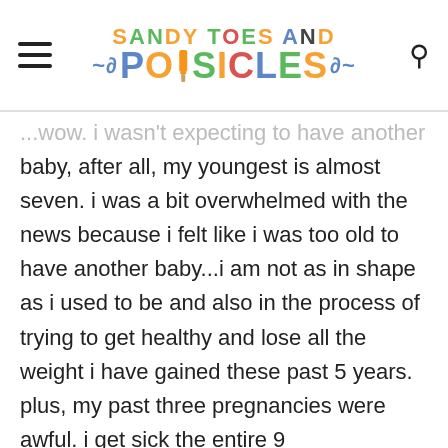Sandy Toes and Popsicles
...wow. I wasn't expecting to have another baby, after all, my youngest is almost seven. i was a bit overwhelmed with the news because i felt like i was too old to have another baby...i am not as in shape as i used to be and also in the process of trying to get healthy and lose all the weight i have gained these past 5 years. plus, my past three pregnancies were awful. i get sick the entire 9 months...could i handle this? but i guess we were meant to have another little one